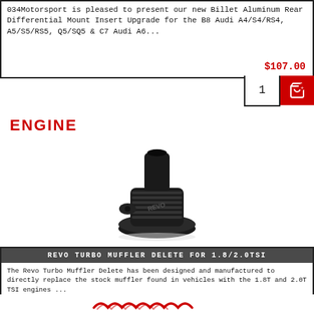034Motorsport is pleased to present our new Billet Aluminum Rear Differential Mount Insert Upgrade for the B8 Audi A4/S4/RS4, A5/S5/RS5, Q5/SQ5 & C7 Audi A6...
$107.00
ENGINE
[Figure (photo): Black metal turbo muffler delete part, cylindrical with flanged base, on white background]
REVO TURBO MUFFLER DELETE FOR 1.8/2.0TSI
The Revo Turbo Muffler Delete has been designed and manufactured to directly replace the stock muffler found in vehicles with the 1.8T and 2.0T TSI engines ...
$133.00